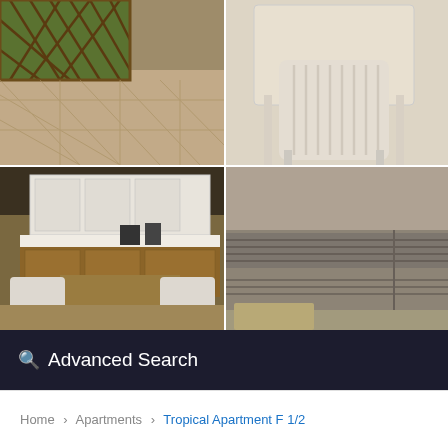[Figure (photo): 2x2 grid of apartment interior photos: top-left shows a tiled patio with lattice window and greenery, top-right shows white plastic chairs and table from above, bottom-left shows a kitchen/dining area with white cabinets and wooden table with white chairs, bottom-right shows a striped sofa/couch with text overlay 'See all 8 photos']
See all 8 photos
Advanced Search
Home > Apartments > Tropical Apartment F 1/2